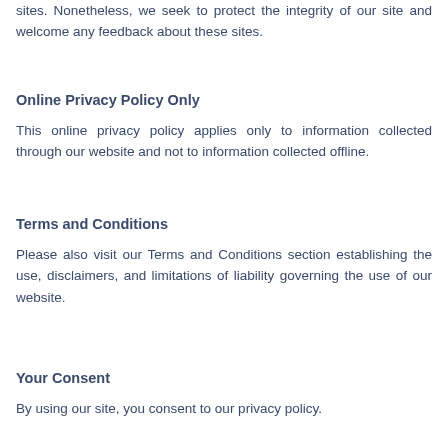sites. Nonetheless, we seek to protect the integrity of our site and welcome any feedback about these sites.
Online Privacy Policy Only
This online privacy policy applies only to information collected through our website and not to information collected offline.
Terms and Conditions
Please also visit our Terms and Conditions section establishing the use, disclaimers, and limitations of liability governing the use of our website.
Your Consent
By using our site, you consent to our privacy policy.